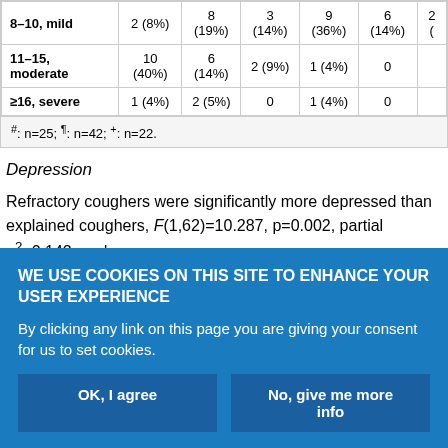|  | Col1 | Col2 | Col3 | Col4 | Col5 | Col6 |
| --- | --- | --- | --- | --- | --- | --- |
| 8–10, mild | 2 (8%) | 8 (19%) | 3 (14%) | 9 (36%) | 6 (14%) | 2 ( |
| 11–15, moderate | 10 (40%) | 6 (14%) | 2 (9%) | 1 (4%) | 0 |  |
| ≥16, severe | 1 (4%) | 2 (5%) | 0 | 1 (4%) | 0 |  |
#: n=25; ¶: n=42; +: n=22.
Depression
Refractory coughers were significantly more depressed than explained coughers, F(1,62)=10.287, p=0.002, partial η²=0.142, and
WE USE COOKIES ON THIS SITE TO ENHANCE YOUR USER EXPERIENCE
By clicking any link on this page you are giving your consent for us to set cookies.